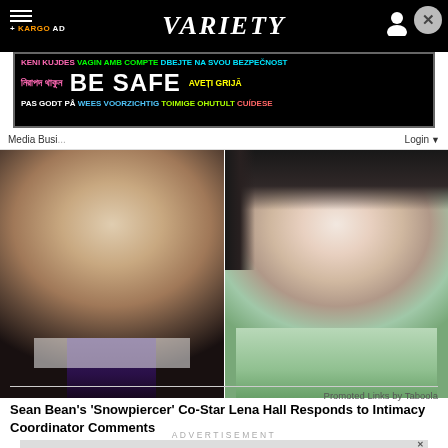VARIETY
[Figure (screenshot): Safety/awareness public service ad banner with multilingual 'BE SAFE' text on black background]
Media Busi... | Login
[Figure (photo): Side-by-side photos of Sean Bean (left, older man with stubble in dark suit and patterned tie) and Lena Hall (right, woman with dark hair in light green sweater)]
Sean Bean's 'Snowpiercer' Co-Star Lena Hall Responds to Intimacy Coordinator Comments
Promoted Links by Taboola
ADVERTISEMENT